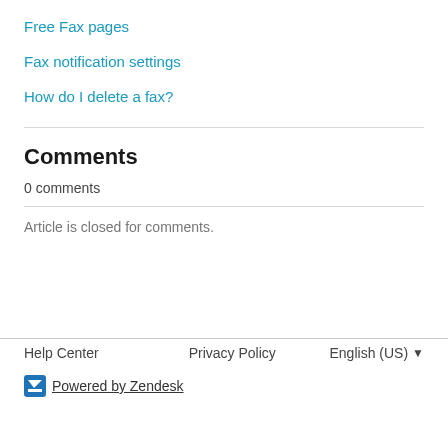Free Fax pages
Fax notification settings
How do I delete a fax?
Comments
0 comments
Article is closed for comments.
Help Center   Privacy Policy   English (US)   Powered by Zendesk